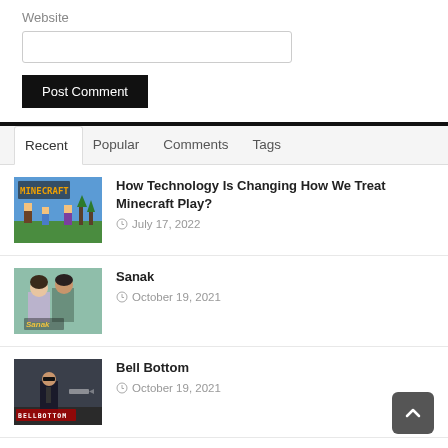Website
Post Comment
Recent | Popular | Comments | Tags
How Technology Is Changing How We Treat Minecraft Play?
July 17, 2022
Sanak
October 19, 2021
Bell Bottom
October 19, 2021